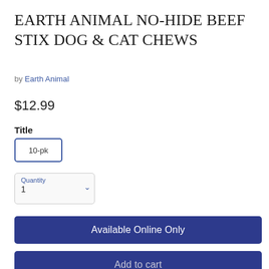EARTH ANIMAL NO-HIDE BEEF STIX DOG & CAT CHEWS
by Earth Animal
$12.99
Title
10-pk
Quantity
1
Available Online Only
Add to cart